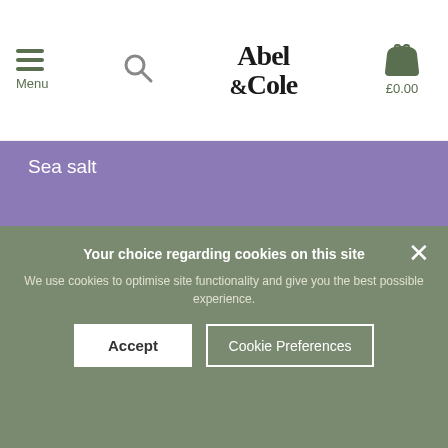Menu | Abel & Cole | £0.00
Sea salt
Freshly ground pepper
50g lamb's lettuce
1 tbsp olive oil
Buy the ingredients to start making your own
Your choice regarding cookies on this site
We use cookies to optimise site functionality and give you the best possible experience.
Accept
Cookie Preferences